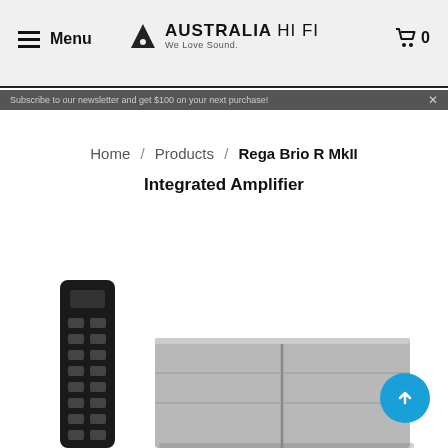Menu | AUSTRALIA HI FI We Love Sound. | 0
Subscribe to our newsletter and get $100 on your next purchase!
Home / Products / Rega Brio R MkII Integrated Amplifier
Rega Brio R MkII Integrated Amplifier
[Figure (photo): Product photo showing a black remote control on the left and a silver Rega Brio R MkII integrated amplifier on the right, with a blue scroll-to-top button overlaid on the bottom right.]